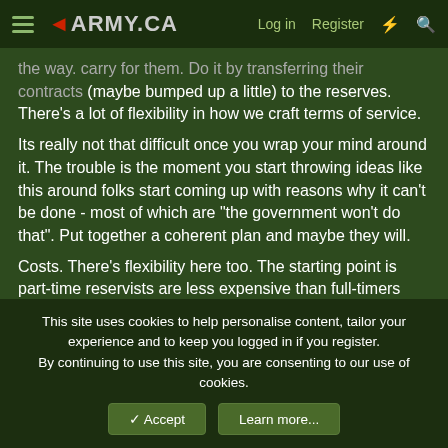ARMY.CA | Log in | Register
the way. carry for them. Do it by transferring their contracts (maybe bumped up a little) to the reserves. There's a lot of flexibility in how we craft terms of service.
Its really not that difficult once you wrap your mind around it. The trouble is the moment you start throwing ideas like this around folks start coming up with reasons why it can't be done - most of which are "the government won't do that". Put together a coherent plan and maybe they will.
Costs. There's flexibility here too. The starting point is part-time reservists are less expensive than full-timers and therefore, if trained to DP 1 standards, are immediately useful to the forces as volunteer augmentees or as compulsory placement on active service in an emergency. Through fixed term contracts attrition
This site uses cookies to help personalise content, tailor your experience and to keep you logged in if you register.
By continuing to use this site, you are consenting to our use of cookies.